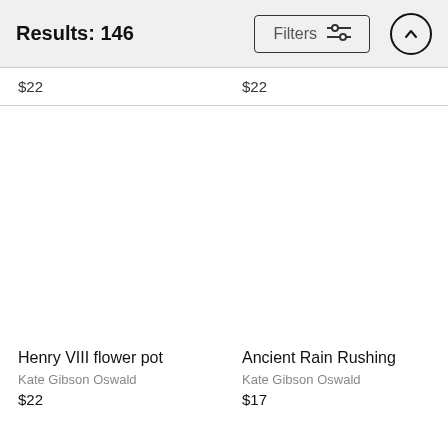Results: 146
$22
$22
Henry VIII flower pot
Kate Gibson Oswald
$22
Ancient Rain Rushing
Kate Gibson Oswald
$17